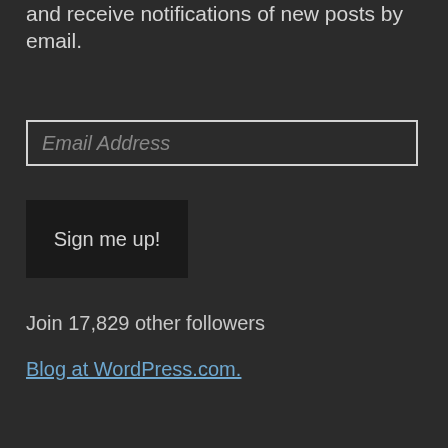and receive notifications of new posts by email.
Email Address
Sign me up!
Join 17,829 other followers
Blog at WordPress.com.